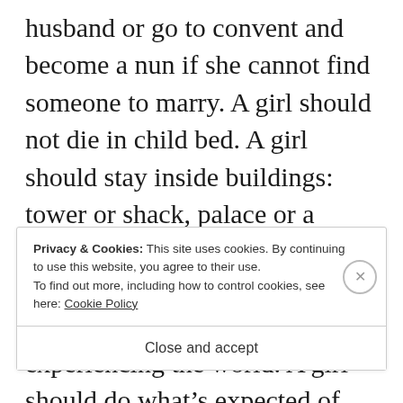husband or go to convent and become a nun if she cannot find someone to marry. A girl should not die in child bed. A girl should stay inside buildings: tower or shack, palace or a single room dwelling, and should not complain, even her life passes in there without experiencing the world. A girl should do what’s expected of her. As you see, this magical, medieval world in Russia is no different than parts of today’s world
Privacy & Cookies: This site uses cookies. By continuing to use this website, you agree to their use.
To find out more, including how to control cookies, see here: Cookie Policy
Close and accept